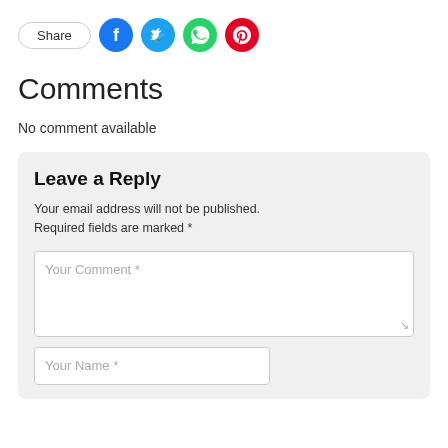[Figure (other): Share button and social media icons: Facebook (blue circle), Twitter (light blue circle), WhatsApp (green circle), Pinterest (red circle)]
Comments
No comment available
Leave a Reply
Your email address will not be published. Required fields are marked *
Your Comment *
Your Name *